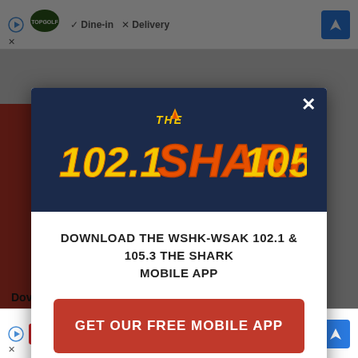[Figure (screenshot): Background webpage with top ad banner showing Topgolf logo, 'Dine-in' and 'Delivery' text, and navigation arrow icon]
[Figure (logo): 102.1 The Shark 105.3 radio station logo on dark navy blue background with flame/shark graphic in yellow, orange, and red]
DOWNLOAD THE WSHK-WSAK 102.1 & 105.3 THE SHARK MOBILE APP
GET OUR FREE MOBILE APP
Also listen on: amazon alexa
Dover
[Figure (screenshot): Bottom ad banner showing Mattress Firm logo with text 'King Bed For A Queen Price Now' and 'Mattress Firm Potomac Run Plaza']